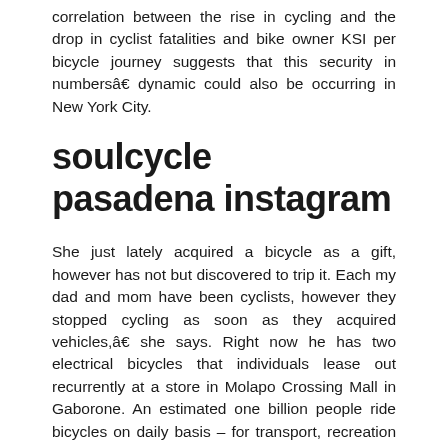correlation between the rise in cycling and the drop in cyclist fatalities and bike owner KSI per bicycle journey suggests that this security in numbersâ€š dynamic could also be occurring in New York City.
soulcycle pasadena instagram
She just lately acquired a bicycle as a gift, however has not but discovered to trip it. Each my dad and mom have been cyclists, however they stopped cycling as soon as they acquired vehicles,â€š she says. Right now he has two electrical bicycles that individuals lease out recurrently at a store in Molapo Crossing Mall in Gaborone. An estimated one billion people ride bicycles on daily basis – for transport, recreation and sport.